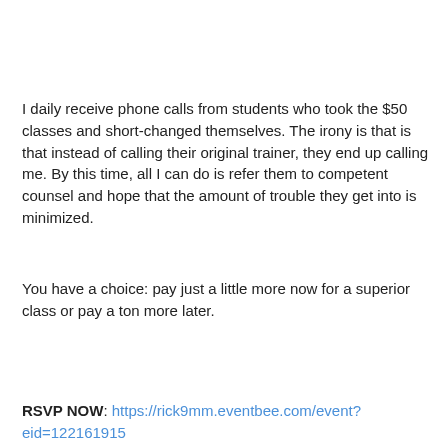I daily receive phone calls from students who took the $50 classes and short-changed themselves. The irony is that is that instead of calling their original trainer, they end up calling me. By this time, all I can do is refer them to competent counsel and hope that the amount of trouble they get into is minimized.
You have a choice: pay just a little more now for a superior class or pay a ton more later.
RSVP NOW: https://rick9mm.eventbee.com/event?eid=122161915